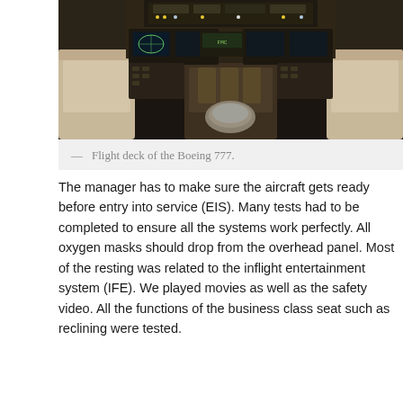[Figure (photo): Interior photo of the flight deck (cockpit) of a Boeing 777, showing pilot seats, instrument panels, controls, and overhead console.]
— Flight deck of the Boeing 777.
The manager has to make sure the aircraft gets ready before entry into service (EIS). Many tests had to be completed to ensure all the systems work perfectly. All oxygen masks should drop from the overhead panel. Most of the resting was related to the inflight entertainment system (IFE). We played movies as well as the safety video. All the functions of the business class seat such as reclining were tested.